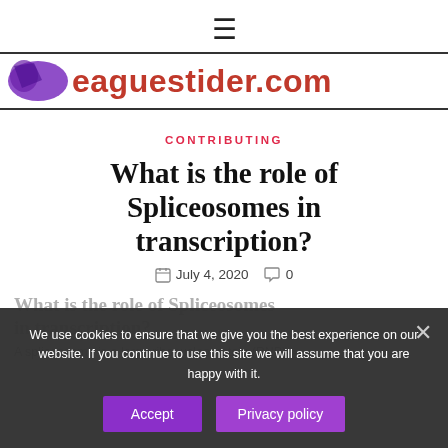☰
[Figure (logo): Website logo showing a stylized purple icon and text 'leaguestider.com' in red]
CONTRIBUTING
What is the role of Spliceosomes in transcription?
July 4, 2020   0
What is the role of Spliceosomes in transcription?
A spliceosome is a large ribonucleoprotein (RNP)
We use cookies to ensure that we give you the best experience on our website. If you continue to use this site we will assume that you are happy with it.